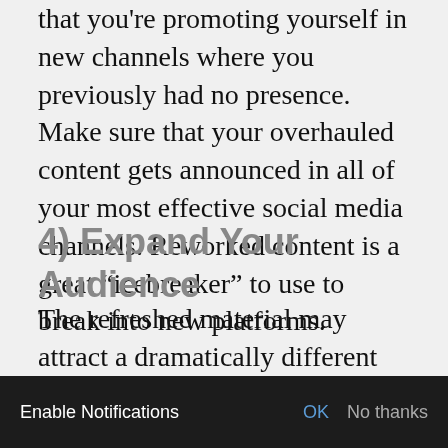that you're promoting yourself in new channels where you previously had no presence. Make sure that your overhauled content gets announced in all of your most effective social media channels. Reworked content is a great “icebreaker” to use to break into new platforms.
4) Expand Your Audience
The refreshed material may attract a dramatically different audience than your original content. You can even aim f... uct y... toward capturing a new audience's
Enable Notifications   OK   No thanks